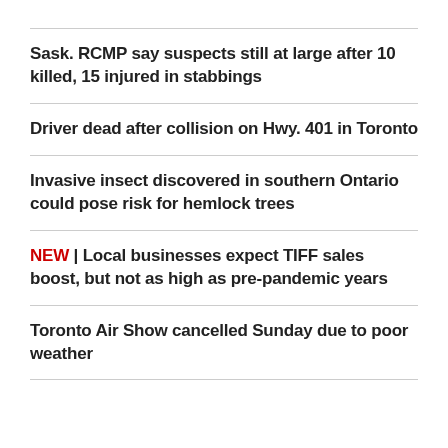Sask. RCMP say suspects still at large after 10 killed, 15 injured in stabbings
Driver dead after collision on Hwy. 401 in Toronto
Invasive insect discovered in southern Ontario could pose risk for hemlock trees
NEW | Local businesses expect TIFF sales boost, but not as high as pre-pandemic years
Toronto Air Show cancelled Sunday due to poor weather